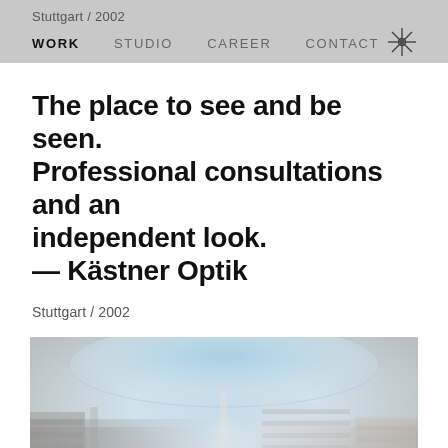Stuttgart / 2002
WORK   STUDIO   CAREER   CONTACT
The place to see and be seen. Professional consultations and an independent look.
— Kästner Optik
Stuttgart / 2002
[Figure (photo): Interior of Kästner Optik store in Stuttgart showing a large oval backlit ceiling feature with blue sky/cloud imagery, display cases with eyewear along the walls, and bright modern retail space.]